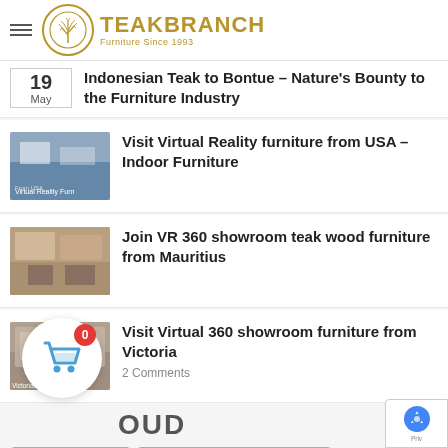TEAKBRANCH — Furniture Since 1993
Indonesian Teak to Bontue – Nature's Bounty to the Furniture Industry
Visit Virtual Reality furniture from USA – Indoor Furniture
Join VR 360 showroom teak wood furniture from Mauritius
Visit Virtual 360 showroom furniture from Victoria
2 Comments
OUD
indonesia furniture
indonesia furniture manufacturer
indonesian furniture online
indonesian furnitures
Indonesian teak furniture
Indoor teak furniture